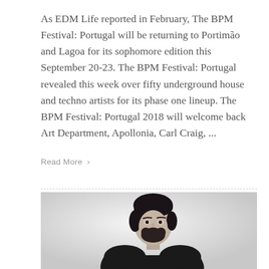As EDM Life reported in February, The BPM Festival: Portugal will be returning to Portimão and Lagoa for its sophomore edition this September 20-23. The BPM Festival: Portugal revealed this week over fifty underground house and techno artists for its phase one lineup. The BPM Festival: Portugal 2018 will welcome back Art Department, Apollonia, Carl Craig, ...
Read More >
[Figure (photo): Black and white photo of a young man with dark hair and beard wearing a black t-shirt, photographed against a light background, looking slightly downward]